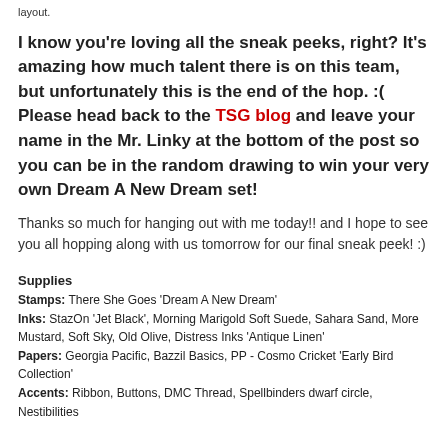layout.
I know you're loving all the sneak peeks, right? It's amazing how much talent there is on this team, but unfortunately this is the end of the hop. :( Please head back to the TSG blog and leave your name in the Mr. Linky at the bottom of the post so you can be in the random drawing to win your very own Dream A New Dream set!
Thanks so much for hanging out with me today!! and I hope to see you all hopping along with us tomorrow for our final sneak peek! :)
Supplies
Stamps: There She Goes 'Dream A New Dream'
Inks: StazOn 'Jet Black', Morning Marigold Soft Suede, Sahara Sand, More Mustard, Soft Sky, Old Olive, Distress Inks 'Antique Linen'
Papers: Georgia Pacific, Bazzil Basics, PP - Cosmo Cricket 'Early Bird Collection'
Accents: Ribbon, Buttons, DMC Thread, Spellbinders dwarf circle, Nestibilities